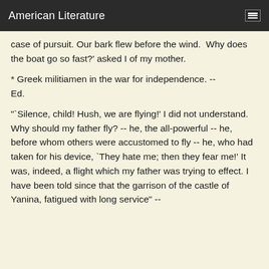American Literature
case of pursuit. Our bark flew before the wind.  Why does the boat go so fast?' asked I of my mother.
* Greek militiamen in the war for independence. -- Ed.
"`Silence, child! Hush, we are flying!' I did not understand. Why should my father fly? -- he, the all-powerful -- he, before whom others were accustomed to fly -- he, who had taken for his device, `They hate me; then they fear me!' It was, indeed, a flight which my father was trying to effect. I have been told since that the garrison of the castle of Yanina, fatigued with long service" --